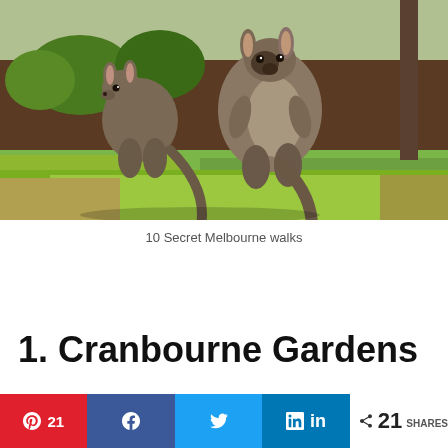[Figure (photo): Two wallabies standing on grass with mulched garden bed background]
10 Secret Melbourne walks
1. Cranbourne Gardens
Getting a quiet walking trail around the city can be
Pinterest 21 | Facebook share | Twitter share | LinkedIn share | < 21 SHARES